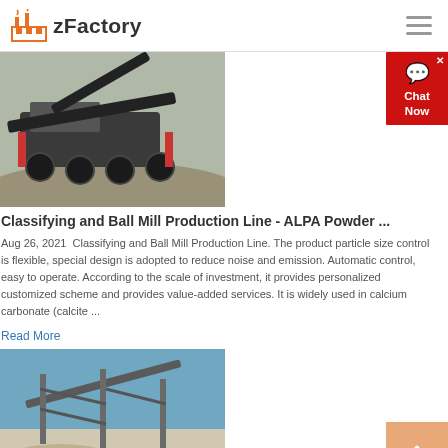zFactory
[Figure (photo): Industrial mobile crushing/screening plant machinery on a construction/mining site]
Classifying and Ball Mill Production Line - ALPA Powder ...
Aug 26, 2021  Classifying and Ball Mill Production Line. The product particle size control is flexible, special design is adopted to reduce noise and emission. Automatic control, easy to operate. According to the scale of investment, it provides personalized customized scheme and provides value-added services. It is widely used in calcium carbonate (calcite ...
Read More
[Figure (photo): Industrial conveyor belt structure at a quarry or mining facility with blue sky]